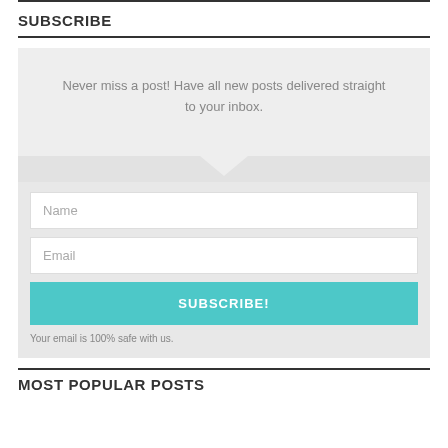SUBSCRIBE
Never miss a post! Have all new posts delivered straight to your inbox.
[Figure (infographic): A subscription form with Name field, Email field, a teal SUBSCRIBE! button, and a note 'Your email is 100% safe with us.']
MOST POPULAR POSTS